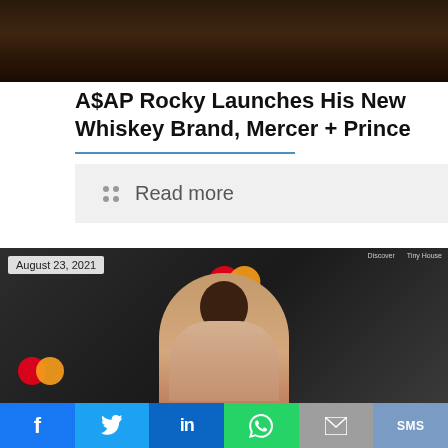[Figure (photo): Top portion of a photo showing a person holding a trophy or award, dark background]
A$AP Rocky Launches His New Whiskey Brand, Mercer + Prince
Read more
[Figure (photo): Woman with curly hair wearing a rose-gold/pink outfit posing at an event with Mastercard branding backdrop. Date stamp: August 23, 2021]
f  Twitter  in  WhatsApp  Email  SMS